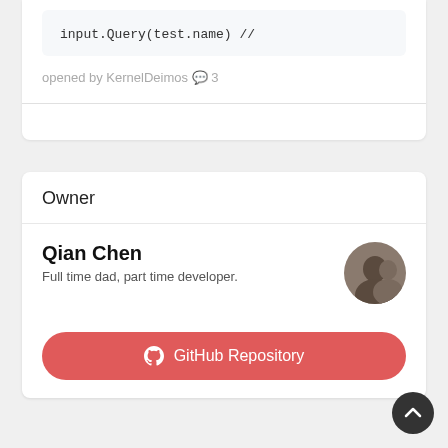input.Query(test.name) //
opened by KernelDeimos 💬 3
Owner
Qian Chen
Full time dad, part time developer.
[Figure (other): GitHub Repository button with GitHub logo icon]
[Figure (other): Scroll to top circular button with up arrow]